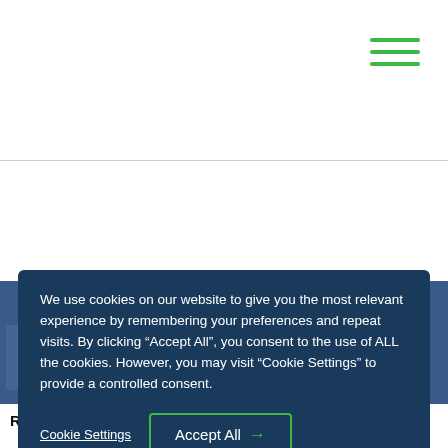[Figure (screenshot): Top navigation bar with hamburger menu icon (three green horizontal lines) in top-right corner]
We use cookies on our website to give you the most relevant experience by remembering your preferences and repeat visits. By clicking “Accept All”, you consent to the use of ALL the cookies. However, you may visit “Cookie Settings” to provide a controlled consent.
Cookie Settings
Accept All →
Related Articles
about Filling and Filing?
Read More
Readying the
Payroll